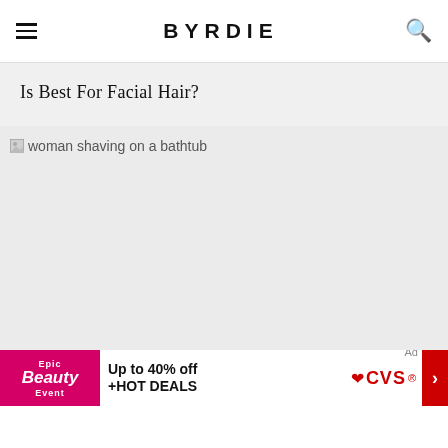BYRDIE
Is Best For Facial Hair?
[Figure (photo): woman shaving on a bathtub — placeholder image with alt text visible]
Ad
Epic Beauty Event Up to 40% off +HOT DEALS CVS